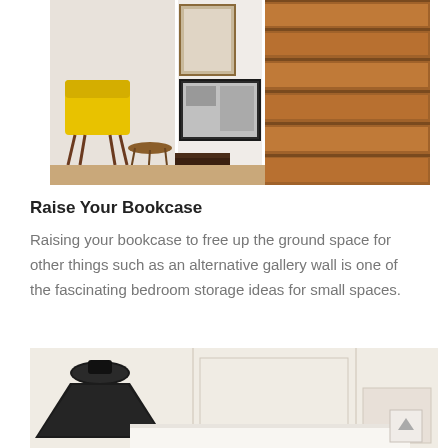[Figure (photo): Interior photo showing wooden stairs, framed wall art, a yellow chair, and a small wooden stool near a built-in bookcase area]
Raise Your Bookcase
Raising your bookcase to free up the ground space for other things such as an alternative gallery wall is one of the fascinating bedroom storage ideas for small spaces.
[Figure (photo): Interior photo showing a dark pendant/wall light fixture mounted near a white paneled wall with shelving or furniture below]